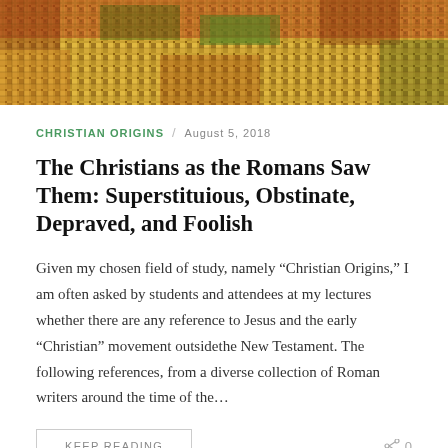[Figure (photo): Mosaic header image showing ancient Roman/Byzantine mosaic tiles in gold, red, green and amber colors]
CHRISTIAN ORIGINS  /  AUGUST 5, 2018
The Christians as the Romans Saw Them: Superstituious, Obstinate, Depraved, and Foolish
Given my chosen field of study, namely “Christian Origins,” I am often asked by students and attendees at my lectures whether there are any reference to Jesus and the early “Christian” movement outsidethe New Testament. The following references, from a diverse collection of Roman writers around the time of the…
KEEP READING
0